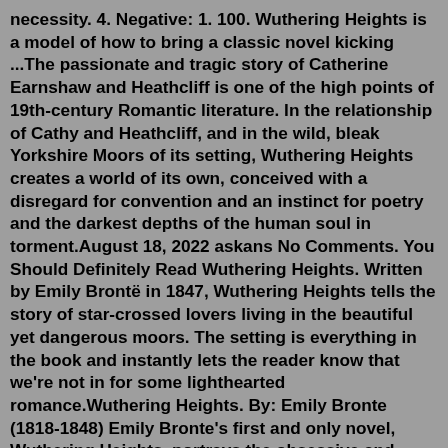necessity. 4. Negative: 1. 100. Wuthering Heights is a model of how to bring a classic novel kicking ...The passionate and tragic story of Catherine Earnshaw and Heathcliff is one of the high points of 19th-century Romantic literature. In the relationship of Cathy and Heathcliff, and in the wild, bleak Yorkshire Moors of its setting, Wuthering Heights creates a world of its own, conceived with a disregard for convention and an instinct for poetry and the darkest depths of the human soul in torment.August 18, 2022 askans No Comments. You Should Definitely Read Wuthering Heights. Written by Emily Brontë in 1847, Wuthering Heights tells the story of star-crossed lovers living in the beautiful yet dangerous moors. The setting is everything in the book and instantly lets the reader know that we're not in for some lighthearted romance.Wuthering Heights. By: Emily Bronte (1818-1848) Emily Bronte's first and only novel, Wuthering Heights, portrays the obsessive and vengeful love story between Heathcliff and Catherine.